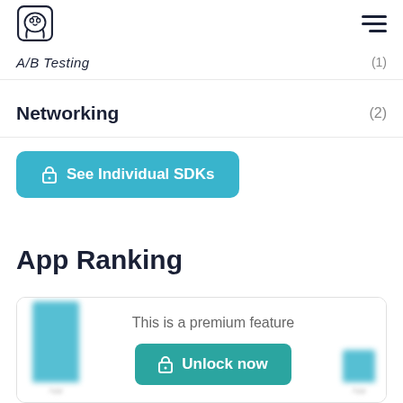Elephant logo + hamburger menu
A/B Testing (1)
Networking (2)
See Individual SDKs
App Ranking
This is a premium feature
Unlock now